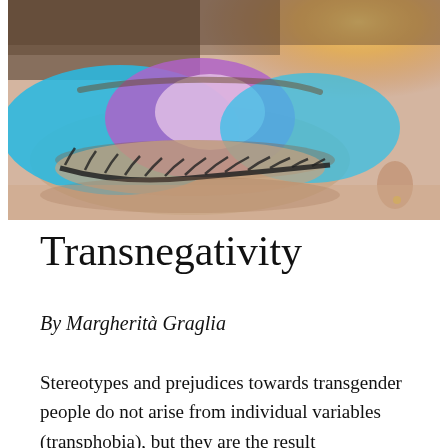[Figure (photo): Close-up photograph of a person's eye with colorful eyeshadow in blue, pink/purple, and white colors reminiscent of the transgender pride flag. A warm light source (lamp) is visible in the background upper right. The person appears to have short hair and a subtle earring.]
Transnegativity
By Margherità Graglia
Stereotypes and prejudices towards transgender people do not arise from individual variables (transphobia), but they are the result